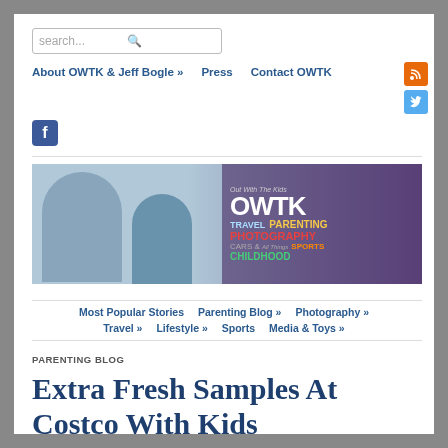search...
About OWTK & Jeff Bogle »  Press  Contact OWTK
[Figure (logo): RSS icon, Twitter icon, Facebook icon social media buttons]
[Figure (photo): OWTK blog banner showing two children sitting on ground with drinks, alongside OWTK logo with text: Out With The Kids, OWTK, TRAVEL, PARENTING, PHOTOGRAPHY, CARS & All Things, SPORTS, CHILDHOOD]
Most Popular Stories  Parenting Blog »  Photography »  Travel »  Lifestyle »  Sports  Media & Toys »
PARENTING BLOG
Extra Fresh Samples At Costco With Kids